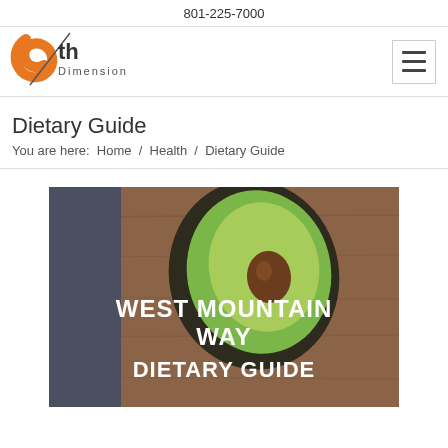801-225-7000
[Figure (logo): 6th Dimension logo with orange stylized '6' and diagonal line, text 'th Dimension' in small caps]
Dietary Guide
You are here:  Home  /  Health  /  Dietary Guide
[Figure (photo): Photo of a halved avocado on a wooden cutting board with text overlay reading 'WEST MOUNTAIN WAY DIETARY GUIDE']